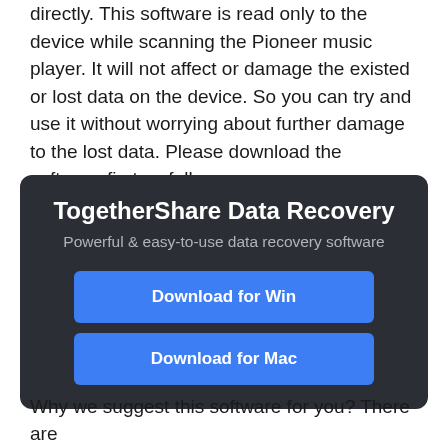directly. This software is read only to the device while scanning the Pioneer music player. It will not affect or damage the existed or lost data on the device. So you can try and use it without worrying about further damage to the lost data. Please download the software first as follows
[Figure (infographic): Dark rounded rectangle promotional box for TogetherShare Data Recovery software with title, subtitle 'Powerful & easy-to-use data recovery software', and two blue download buttons: 'Download for Win' and 'Download for Mac']
Why we suggest this software for you? There are